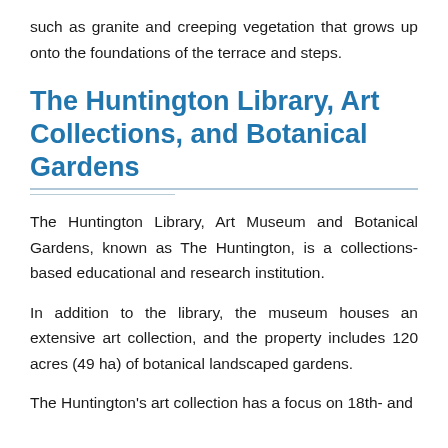such as granite and creeping vegetation that grows up onto the foundations of the terrace and steps.
The Huntington Library, Art Collections, and Botanical Gardens
The Huntington Library, Art Museum and Botanical Gardens, known as The Huntington, is a collections-based educational and research institution.
In addition to the library, the museum houses an extensive art collection, and the property includes 120 acres (49 ha) of botanical landscaped gardens.
The Huntington's art collection has a focus on 18th- and